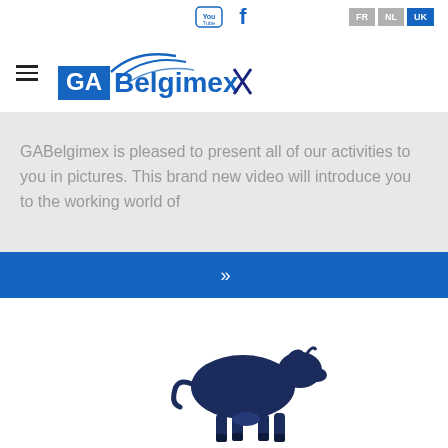GABelgimex website navigation with YouTube, Facebook icons and FR NL UK language buttons
[Figure (logo): GABelgimex logo with blue text 'GA' in a box and 'Belgimex' with swoosh graphic above]
GABelgimex is pleased to present all of our activities to you in pictures. This brand new video will introduce you to the working world of
[Figure (other): Blue button bar with double chevron >> symbol]
[Figure (illustration): Dark navy blue silhouette of a bull/cattle facing right]